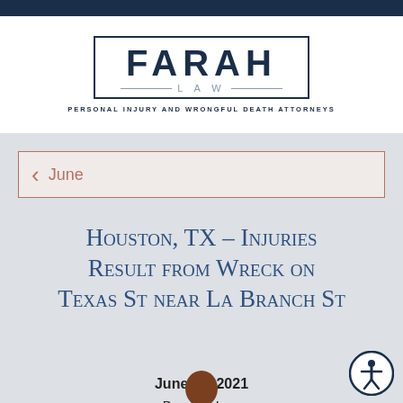[Figure (logo): Farah Law logo with 'FARAH' in large uppercase letters inside a rectangle border, with 'LAW' below and tagline 'PERSONAL INJURY AND WRONGFUL DEATH ATTORNEYS']
< June
Houston, TX – Injuries Result from Wreck on Texas St near La Branch St
June [date] 2021
By [author] Law